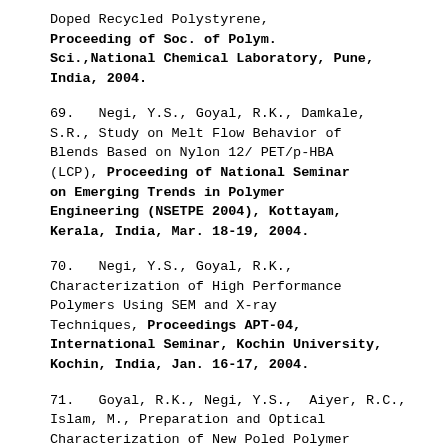Doped Recycled Polystyrene, Proceeding of Soc. of Polym. Sci.,National Chemical Laboratory, Pune, India, 2004.
69.   Negi, Y.S., Goyal, R.K., Damkale, S.R., Study on Melt Flow Behavior of Blends Based on Nylon 12/ PET/p-HBA (LCP), Proceeding of National Seminar on Emerging Trends in Polymer Engineering (NSETPE 2004), Kottayam, Kerala, India, Mar. 18-19, 2004.
70.   Negi, Y.S., Goyal, R.K., Characterization of High Performance Polymers Using SEM and X-ray Techniques, Proceedings APT-04, International Seminar, Kochin University, Kochin, India, Jan. 16-17, 2004.
71.   Goyal, R.K., Negi, Y.S.,  Aiyer, R.C., Islam, M., Preparation and Optical Characterization of New Poled Polymer Film Based on m-Nitroaniline (m-NA) Doped Polycarbonate (PC) and Their Application in Optoelectronics,  NCMA-2004, Dept. of Physics, Kurukhetra Univ., Kurukhetra, India, Feb. 23-25,